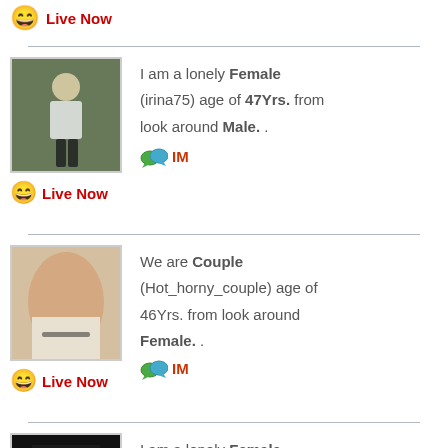[Figure (infographic): Top strip: smiley emoji and Live Now red text link]
Live Now
[Figure (photo): Profile photo of a woman standing outdoors in a white top and dark skirt]
I am a lonely Female (irina75) age of 47Yrs. from look around Male. .
IM
Live Now
[Figure (photo): Profile photo of a couple, partially unclothed, on a couch]
We are Couple (Hot_horny_couple) age of 46Yrs. from look around Female. .
IM
Live Now
[Figure (photo): Profile photo, dark image, partially visible]
I am a lonely Female